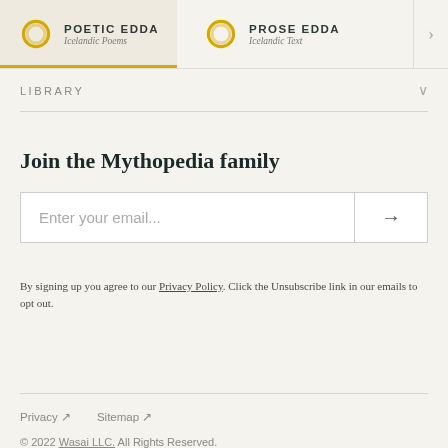POETIC EDDA Icelandic Poems | PROSE EDDA Icelandic Text
LIBRARY
Join the Mythopedia family
Enter your email...
By signing up you agree to our Privacy Policy. Click the Unsubscribe link in our emails to opt out.
Privacy ↗   Sitemap ↗
© 2022 Wasai LLC. All Rights Reserved.